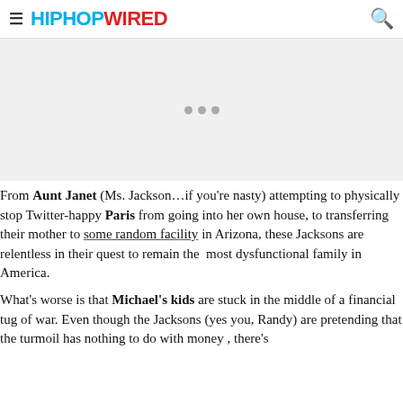HIPHOPWIRED
[Figure (other): Advertisement placeholder area with three grey loading dots]
From Aunt Janet (Ms. Jackson…if you're nasty) attempting to physically stop Twitter-happy Paris from going into her own house, to transferring their mother to some random facility in Arizona, these Jacksons are relentless in their quest to remain the most dysfunctional family in America.
What's worse is that Michael's kids are stuck in the middle of a financial tug of war. Even though the Jacksons (yes you, Randy) are pretending that the turmoil has nothing to do with money , there's